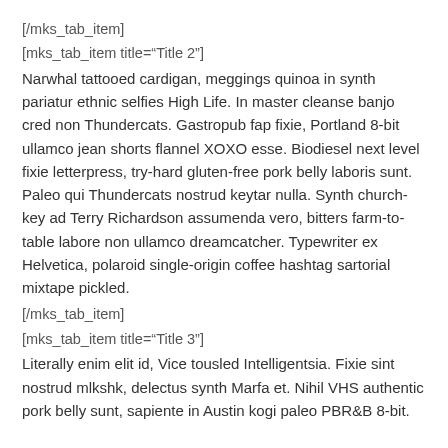[/mks_tab_item]
[mks_tab_item title="Title 2"]
Narwhal tattooed cardigan, meggings quinoa in synth pariatur ethnic selfies High Life. In master cleanse banjo cred non Thundercats. Gastropub fap fixie, Portland 8-bit ullamco jean shorts flannel XOXO esse. Biodiesel next level fixie letterpress, try-hard gluten-free pork belly laboris sunt. Paleo qui Thundercats nostrud keytar nulla. Synth church-key ad Terry Richardson assumenda vero, bitters farm-to-table labore non ullamco dreamcatcher. Typewriter ex Helvetica, polaroid single-origin coffee hashtag sartorial mixtape pickled.
[/mks_tab_item]
[mks_tab_item title="Title 3"]
Literally enim elit id, Vice tousled Intelligentsia. Fixie sint nostrud mlkshk, delectus synth Marfa et. Nihil VHS authentic pork belly sunt, sapiente in Austin kogi paleo PBR&B 8-bit.